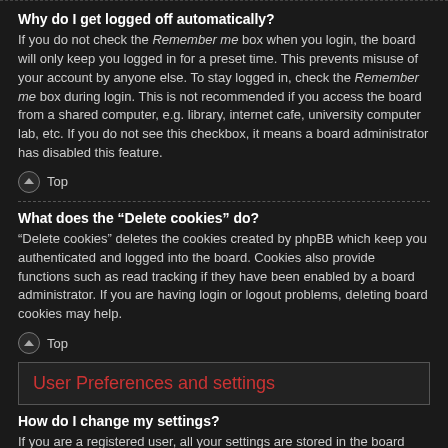Why do I get logged off automatically?
If you do not check the Remember me box when you login, the board will only keep you logged in for a preset time. This prevents misuse of your account by anyone else. To stay logged in, check the Remember me box during login. This is not recommended if you access the board from a shared computer, e.g. library, internet cafe, university computer lab, etc. If you do not see this checkbox, it means a board administrator has disabled this feature.
Top
What does the “Delete cookies” do?
“Delete cookies” deletes the cookies created by phpBB which keep you authenticated and logged into the board. Cookies also provide functions such as read tracking if they have been enabled by a board administrator. If you are having login or logout problems, deleting board cookies may help.
Top
User Preferences and settings
How do I change my settings?
If you are a registered user, all your settings are stored in the board database. To alter them, visit your User Control Panel; a link can usually be found by clicking on your username at the top of board pages. This system will allow